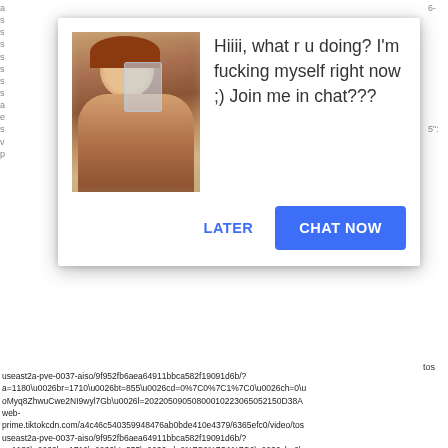[Figure (screenshot): A pop-up chat advertisement dialog box overlaying a web page. The dialog contains a thumbnail image on the left showing a person, a message text on the right reading 'Hiiii, what r u doing? I'm fucking myself right now ;) Join me in chat???', and two buttons at the bottom: 'LATER' (blue text) and 'CHAT NOW' (blue filled button). Behind the dialog is visible raw URL/JSON text from a TikTok CDN.]
useast2a-pve-0037-aiso/9f952fb6aea64911bbca582f19091d6b/?a=1180\u0026br=1710\u0026bt=855\u0026cd=0%7C0%7C1%7C0\u0026ch=0\u0026oMyq8ZhwuCwe2NI9wyl7Gb\u0026l=202205090508000102230650521SOD38Aweb-prime.tiktokcdn.com/a4c46c540359948476ab0bde410e4379/6365efc0/video/tosuseast2a-pve-0037-aiso/9f952fb6aea64911bbca582f19091d6b/?a=1180\u0026br=1710\u0026bt=855\u0026cd=0%7C0%7C1%7C0\u0026ch=0\u0026oMyq8ZhwuCwe2NI9wyl7Gb\u0026l=202205090508000102230650521SOD38A["","https://p16-sign-va.tiktokcdn.com/tos-useast2a-p-0037-aiso/56be440a041e4a74851e44c89470c13b_1642252925~tplv-tiktok-play.jpeg?x-expires=1652677200\u0026x-signature=ehdOcdhvvVPNB2RQEFn3ta2Cr9s%3D","https://p16-sign-va.tiktokcdn.com/tos-useast2a-p-0037-aiso/56be440a041e4a74851e44c89470c13b_1642252925~tplv-tiktokx-share-play.jpeg?x-expires=1652677200\u0026x-signature=t8xATuc7Xem1RMxqkoZU73%2F6IYI%3D"],"reflowCover":"https://p16-sign-va.tiktokcdn.com/obj/tos-useast2a-p-0037-aiso/9ac245059f944283850fa87cf5212d34?x-expires=1652094000\u0026x-signature=egC9AOX1bsWA256Zwl8LfLEQ4MI%3D","bitrate":876258,"encodedT
["id":"6762877692196930561","shortId":"","uniqueId":"asli_nganak81","pickna